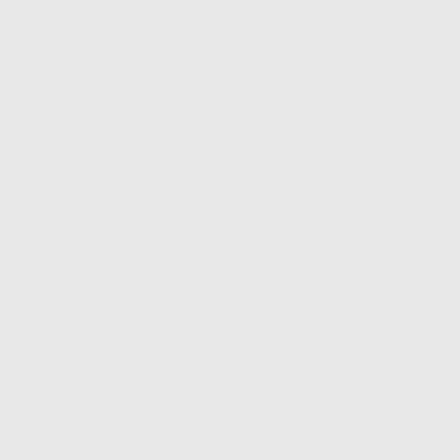to and from the local garden center and local Lowe's hardware store.
Will on July 30, 2006 - 3:05pm Permalink | Parent | Comments top
I gotta tell you this. I have a TDI Passat (think bigger Jetta) and a TDI Golf. The Golf is considerably more useful. The hatchback is key, you can put the seats